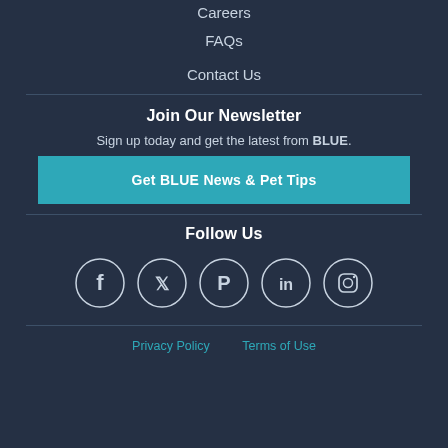Careers
FAQs
Contact Us
Join Our Newsletter
Sign up today and get the latest from BLUE.
Get BLUE News & Pet Tips
Follow Us
[Figure (infographic): Social media icons in circles: Facebook, Twitter, Pinterest, LinkedIn, Instagram]
Privacy Policy   Terms of Use